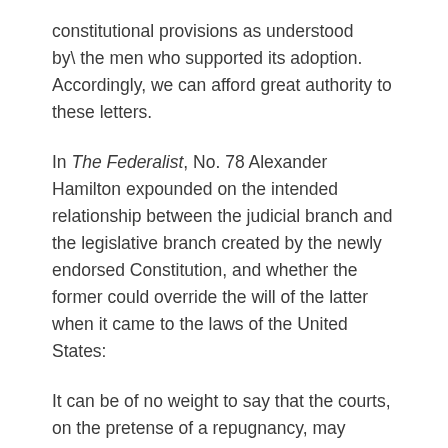constitutional provisions as understood by\ the men who supported its adoption. Accordingly, we can afford great authority to these letters.
In The Federalist, No. 78 Alexander Hamilton expounded on the intended relationship between the judicial branch and the legislative branch created by the newly endorsed Constitution, and whether the former could override the will of the latter when it came to the laws of the United States:
It can be of no weight to say that the courts, on the pretense of a repugnancy, may substitute their own pleasure to the constitutional intentions of the legislature. This might as well happen in the case of two contradictory statutes; or it might as well happen in every adjudication upon any single statute. The